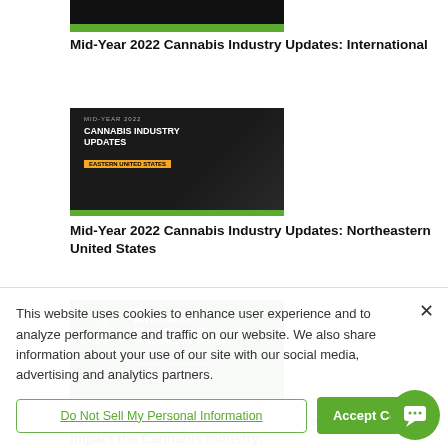[Figure (screenshot): Thumbnail image for article 1 - dark background with green bar]
Mid-Year 2022 Cannabis Industry Updates: International
[Figure (screenshot): Thumbnail image for article 2 - Mid-Year 2022 Cannabis Industry Updates with dark background]
Mid-Year 2022 Cannabis Industry Updates: Northeastern United States
[Figure (screenshot): Thumbnail image for article 3 - Big Business, Monopolies and Vertical Integration with green background]
How Big Business, Monopolies and Vertical Integration Impact the Cannabis Industry:
This website uses cookies to enhance user experience and to analyze performance and traffic on our website. We also share information about your use of our site with our social media, advertising and analytics partners.
Do Not Sell My Personal Information
Accept Cook.